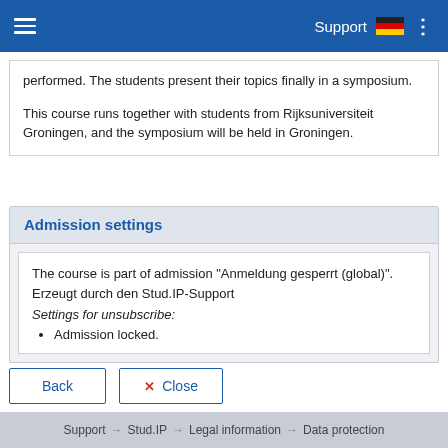Support
performed. The students present their topics finally in a symposium.

This course runs together with students from Rijksuniversiteit Groningen, and the symposium will be held in Groningen.
Admission settings
The course is part of admission "Anmeldung gesperrt (global)". Erzeugt durch den Stud.IP-Support
Settings for unsubscribe:
Admission locked.
Support → Stud.IP → Legal information → Data protection